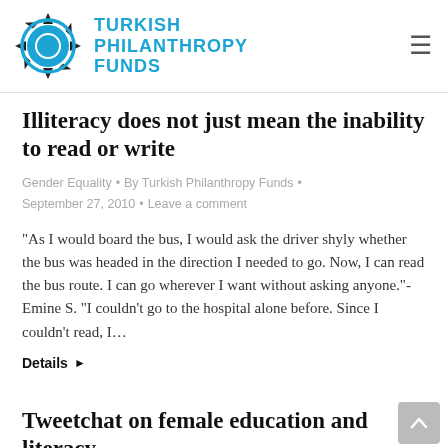Turkish Philanthropy Funds
Illiteracy does not just mean the inability to read or write
Gender Equality • By Turkish Philanthropy Funds • September 27, 2010 • Leave a comment
“As I would board the bus, I would ask the driver shyly whether the bus was headed in the direction I needed to go. Now, I can read the bus route. I can go wherever I want without asking anyone.”- Emine S. “I couldn’t go to the hospital alone before. Since I couldn’t read, I…
Details ▸
Tweetchat on female education and literacy
News • By Turkish Philanthropy Funds • September 20, 2010 •